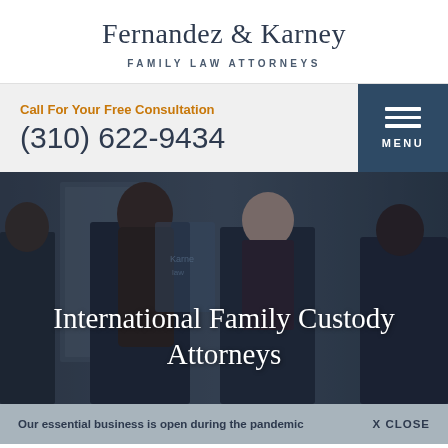Fernandez & Karney
FAMILY LAW ATTORNEYS
Call For Your Free Consultation
(310) 622-9434
[Figure (photo): Group of female attorneys standing in an office hallway, looking professional in business attire]
International Family Custody Attorneys
Our essential business is open during the pandemic  X CLOSE